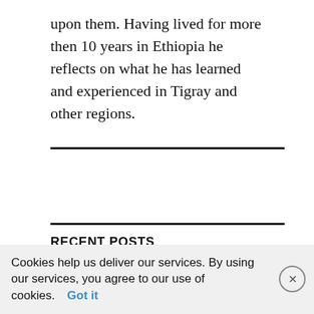upon them. Having lived for more then 10 years in Ethiopia he reflects on what he has learned and experienced in Tigray and other regions.
RECENT POSTS
The ongoing effects on women's health by the continued Tigray siege
August 11, 2022
Cookies help us deliver our services. By using our services, you agree to our use of cookies. Got it